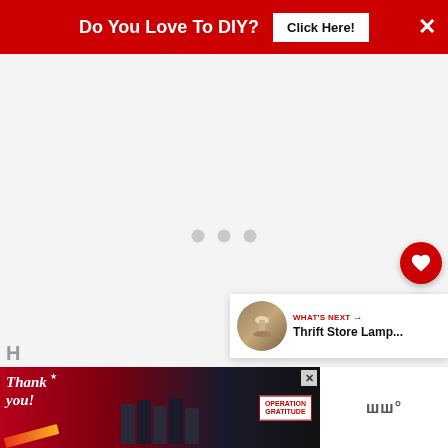Do You Love To DIY?  Click Here!  ×
[Figure (screenshot): White/light gray content area with three gray loading dots in the center, indicating a loading state for video or image content]
[Figure (infographic): Floating action button with red background and white heart icon (favorite/save button)]
[Figure (infographic): Floating action button with white background and share icon]
[Figure (infographic): What's Next card showing a circular thumbnail of a lamp and text 'WHAT'S NEXT → Thrift Store Lamp...']
[Figure (screenshot): Bottom advertisement banner: 'Thank you!' Operation Gratitude ad featuring firefighters/military personnel with American flag motif and pencil decoration]
H
ш°